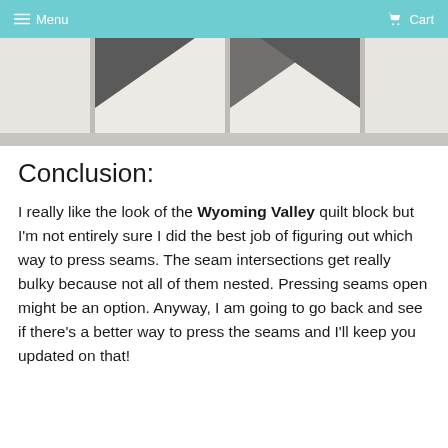Menu   Cart
[Figure (photo): Partial view of a Wyoming Valley quilt block showing grey and white fabric pieces with triangular corner accents against a light background.]
Conclusion:
I really like the look of the Wyoming Valley quilt block but I'm not entirely sure I did the best job of figuring out which way to press seams. The seam intersections get really bulky because not all of them nested. Pressing seams open might be an option. Anyway, I am going to go back and see if there's a better way to press the seams and I'll keep you updated on that!